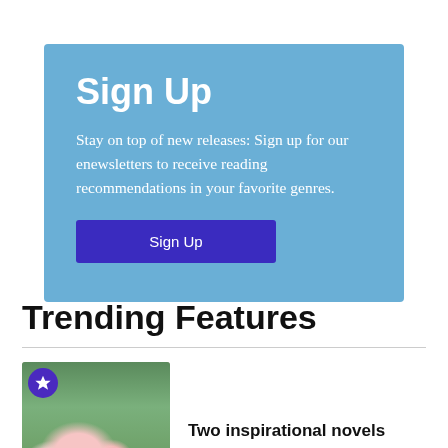Sign Up
Stay on top of new releases: Sign up for our enewsletters to receive reading recommendations in your favorite genres.
Sign Up
Trending Features
[Figure (photo): Book cover thumbnail with flowers and wood background, with a purple star badge in the top left corner]
Two inspirational novels